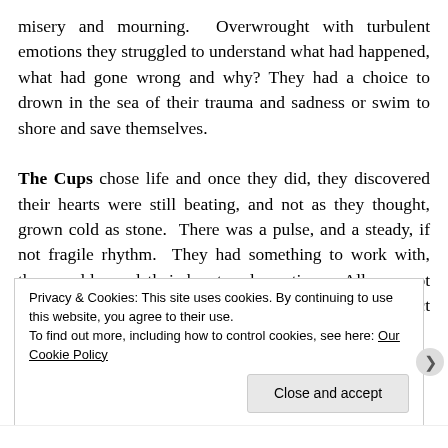misery and mourning.  Overwrought with turbulent emotions they struggled to understand what had happened, what had gone wrong and why? They had a choice to drown in the sea of their trauma and sadness or swim to shore and save themselves.

The Cups chose life and once they did, they discovered their hearts were still beating, and not as they thought, grown cold as stone.  There was a pulse, and a steady, if not fragile rhythm.  They had something to work with, they could mend their heart and emotions.  All was not lost but it was vitally important for the Cups to protect their heart, feelings and emotions from unnecessary
Privacy & Cookies: This site uses cookies. By continuing to use this website, you agree to their use.
To find out more, including how to control cookies, see here: Our Cookie Policy
Close and accept